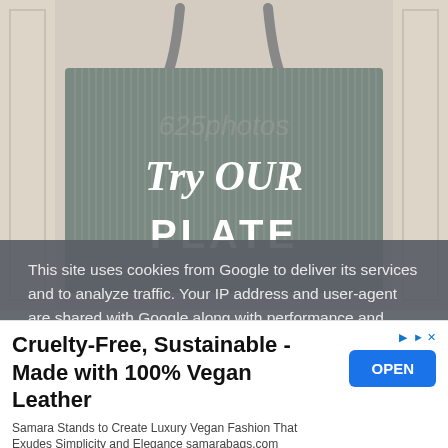[Figure (photo): A gray tote bag with white text reading 'Try OUR PLATE' hanging against a white door background. A stock photo watermark is visible overlaid on the image.]
This site uses cookies from Google to deliver its services and to analyze traffic. Your IP address and user-agent are shared with Google along with performance and
[Figure (screenshot): Advertisement banner: Cruelty-Free, Sustainable - Made with 100% Vegan Leather. Samara Stands to Create Luxury Vegan Fashion That Exudes Simplicity and Elegance samarabags.com. With an OPEN button.]